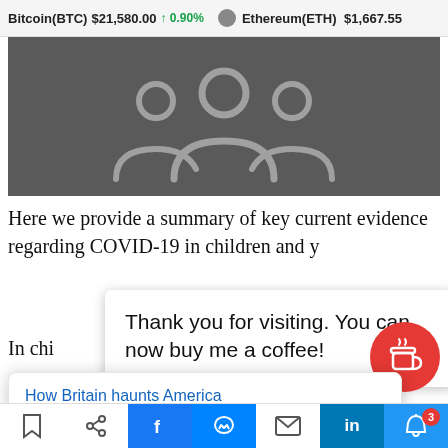Bitcoin(BTC) $21,580.00 ↑ 0.90%   Ethereum(ETH) $1,667.55
[Figure (illustration): Dark grey background with outline icon of a group of people (community/team icon) in lighter grey]
Here we provide a summary of key current evidence regarding COVID-19 in children and y
In chi                                                    ar t COVID
considerably lower burden of morbidity
Thank you for visiting. You can now buy me a coffee!
x
How Britain haunts America
42 minutes ago
in  3